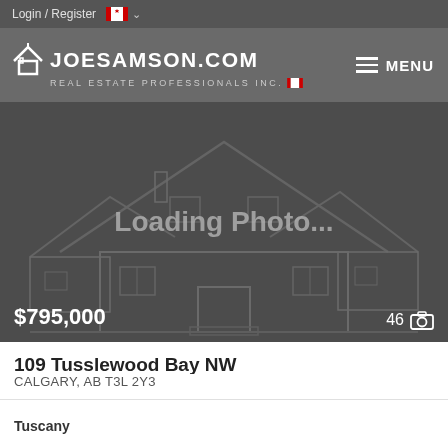Login / Register
[Figure (logo): JoeSamson.com Real Estate Professionals Inc. logo with house icon and Canadian flag]
[Figure (photo): Loading Photo... placeholder showing a wireframe/outline illustration of a house on dark grey background. Price overlay: $795,000. Photo count: 46.]
109 Tusslewood Bay NW
CALGARY, AB T3L 2Y3
Tuscany